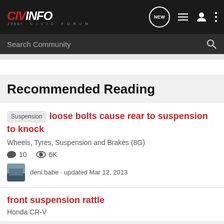CIVINFO 2006+ CIVIC FORUM
Search Community
Recommended Reading
Suspension loose bolts cause rear to suspension to knock
Wheels, Tyres, Suspension and Brakes (8G)
10 comments · 6K views
deni.babe · updated Mar 12, 2013
front suspension rattle
Honda CR-V